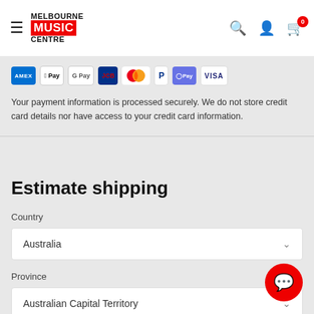[Figure (logo): Melbourne Music Centre logo with hamburger menu and nav icons]
[Figure (infographic): Payment method icons: Amex, Apple Pay, Google Pay, JCB, Mastercard, PayPal, OPay, Visa]
Your payment information is processed securely. We do not store credit card details nor have access to your credit card information.
Estimate shipping
Country
Australia
Province
Australian Capital Territory